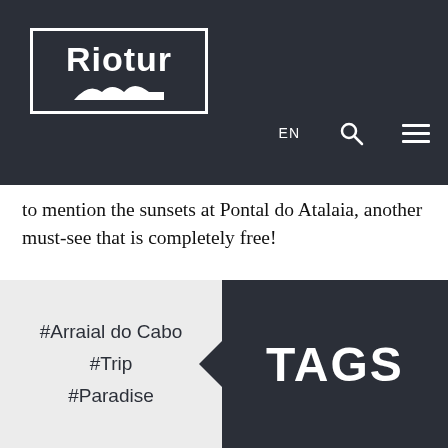[Figure (logo): Riotur logo — white text 'Riotur' with mountain/hill silhouette icon inside a white rectangle border on dark background]
EN
to mention the sunsets at Pontal do Atalaia, another must-see that is completely free!
#Arraial do Cabo
#Trip
#Paradise
TAGS